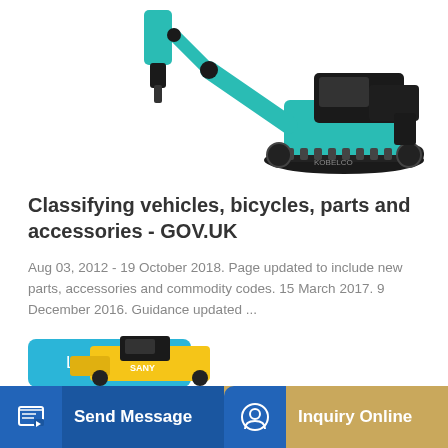[Figure (photo): Teal/turquoise hydraulic excavator with breaker attachment on left arm, black tracks, white background]
Classifying vehicles, bicycles, parts and accessories - GOV.UK
Aug 03, 2012 - 19 October 2018. Page updated to include new parts, accessories and commodity codes. 15 March 2017. 9 December 2016. Guidance updated ...
Learn More
[Figure (photo): Yellow construction machine partially visible at bottom of page]
Send Message
Inquiry Online